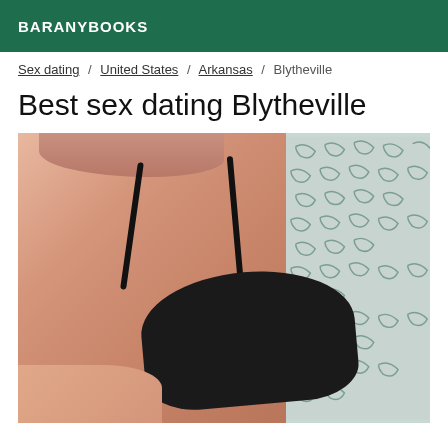BARANYBOOKS
Sex dating / United States / Arkansas / Blytheville
Best sex dating Blytheville
[Figure (photo): Close-up photo of a person wearing a black bra against a patterned fabric background]